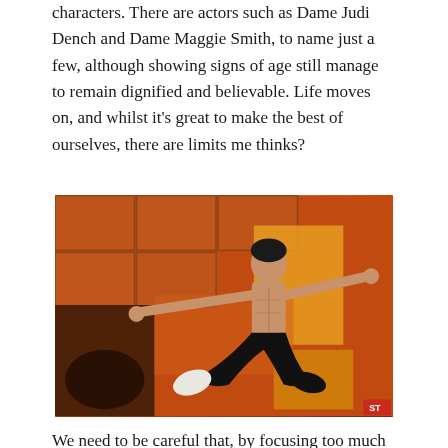characters. There are actors such as Dame Judi Dench and Dame Maggie Smith, to name just a few, although showing signs of age still manage to remain dignified and believable. Life moves on, and whilst it’s great to make the best of ourselves, there are limits me thinks?
[Figure (photo): A martial artist (resembling Bruce Lee) performing a flying kick with arms outstretched, shirtless, wearing black pants with a white shoe. The background features orange and yellow geometric panels in an Asian-inspired setting.]
We need to be careful that, by focusing too much on our age, we limit our potential. There are martial